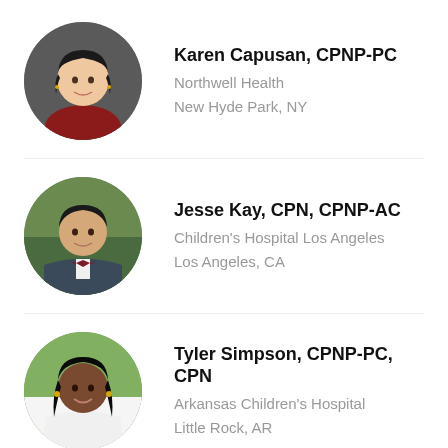[Figure (photo): Circular headshot of Karen Capusan, an Asian woman with dark hair, smiling, wearing red]
Karen Capusan, CPNP-PC
Northwell Health
New Hyde Park, NY
[Figure (photo): Circular headshot of Jesse Kay, a man in a dark suit with bow tie, smiling outdoors]
Jesse Kay, CPN, CPNP-AC
Children's Hospital Los Angeles
Los Angeles, CA
[Figure (photo): Circular headshot of Tyler Simpson, a Black woman with long dark hair, smiling, wearing white]
Tyler Simpson, CPNP-PC, CPN
Arkansas Children's Hospital
Little Rock, AR